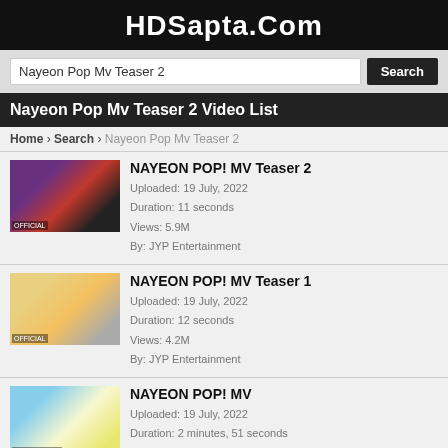HDSapta.Com
Nayeon Pop Mv Teaser 2  Search
Nayeon Pop Mv Teaser 2 Video List
Home › Search › Nayeon Pop Mv Teaser 2
[Figure (photo): Thumbnail for NAYEON POP! MV Teaser 2 video]
NAYEON POP! MV Teaser 2
Uploaded: 19 July, 2022
Duration: 11 seconds
Views: 5.9M
By: JYP Entertainment
[Figure (photo): Thumbnail for NAYEON POP! MV Teaser 1 video]
NAYEON POP! MV Teaser 1
Uploaded: 19 July, 2022
Duration: 12 seconds
Views: 4.2M
By: JYP Entertainment
[Figure (photo): Thumbnail for NAYEON POP! MV video]
NAYEON POP! MV
Uploaded: 19 July, 2022
Duration: 2 minutes, 51 seconds
Views: 107.5M
By: JYP Entertainment
[Figure (photo): Thumbnail for A (P)BOP!! NAYEON POP! MV Teaser 1 & 2 REACTION! video]
A (P)BOP!! NAYEON POP! MV Teaser 1 & 2 REACTION!